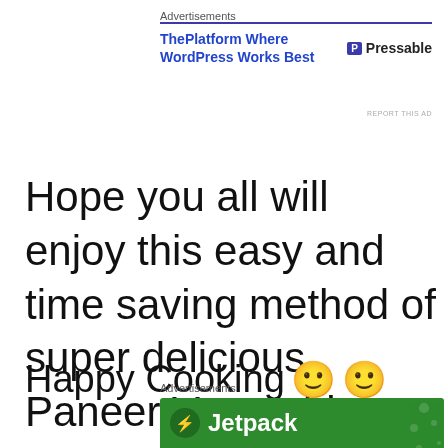Advertisements
[Figure (other): Advertisement banner for Pressable - ThePlatform Where WordPress Works Best]
REPORT THIS AD
Hope you all will enjoy this easy and time saving method of super delicious Paneer Vegetables
Happy Cooking 🙂 🙂
Advertisements
[Figure (other): Jetpack advertisement banner with green background]